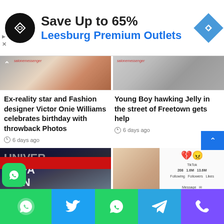[Figure (infographic): Advertisement banner: Save Up to 65% at Leesburg Premium Outlets with logo and navigation icon]
[Figure (photo): Two cropped news article thumbnail images side by side with salonemessenger watermark]
Ex-reality star and Fashion designer Victor Onie Williams celebrates birthday with throwback Photos
6 days ago
Young Boy hawking Jelly in the street of Freetown gets help
6 days ago
[Figure (photo): University of Innovation event photo on left; woman portrait with TikTok overlay on right]
[Figure (screenshot): Bottom navigation bar with WhatsApp, Twitter, WhatsApp, Telegram, Phone icons]